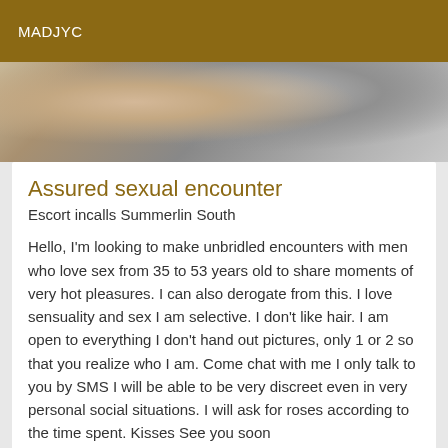MADJYC
[Figure (photo): Partial photo of a person against a textured background]
Assured sexual encounter
Escort incalls Summerlin South
Hello, I'm looking to make unbridled encounters with men who love sex from 35 to 53 years old to share moments of very hot pleasures. I can also derogate from this. I love sensuality and sex I am selective. I don't like hair. I am open to everything I don't hand out pictures, only 1 or 2 so that you realize who I am. Come chat with me I only talk to you by SMS I will be able to be very discreet even in very personal social situations. I will ask for roses according to the time spent. Kisses See you soon
[Figure (photo): Bottom strip with Online badge and partial photo of a person with dark curly hair]